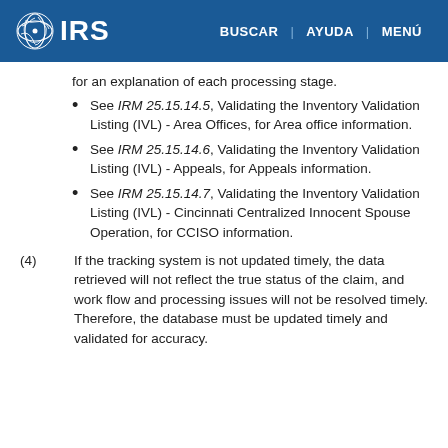IRS | BUSCAR | AYUDA | MENÚ
for an explanation of each processing stage.
See IRM 25.15.14.5, Validating the Inventory Validation Listing (IVL) - Area Offices, for Area office information.
See IRM 25.15.14.6, Validating the Inventory Validation Listing (IVL) - Appeals, for Appeals information.
See IRM 25.15.14.7, Validating the Inventory Validation Listing (IVL) - Cincinnati Centralized Innocent Spouse Operation, for CCISO information.
(4) If the tracking system is not updated timely, the data retrieved will not reflect the true status of the claim, and work flow and processing issues will not be resolved timely. Therefore, the database must be updated timely and validated for accuracy.